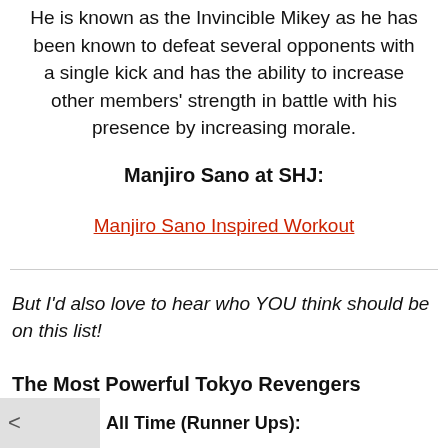He is known as the Invincible Mikey as he has been known to defeat several opponents with a single kick and has the ability to increase other members' strength in battle with his presence by increasing morale.
Manjiro Sano at SHJ:
Manjiro Sano Inspired Workout
But I'd also love to hear who YOU think should be on this list!
The Most Powerful Tokyo Revengers Characters All Time (Runner Ups):